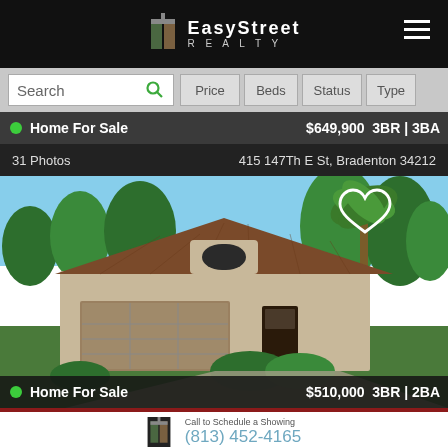EasyStreet Realty
Search | Price | Beds | Status | Type
Home For Sale   $649,900   3BR | 3BA
31 Photos   415 147Th E St, Bradenton 34212
[Figure (photo): Exterior photo of a single-family home with tile roof, two-car garage, surrounded by palm trees and lush greenery, with a heart/favorite icon overlay.]
Home For Sale   $510,000   3BR | 2BA
Call to Schedule a Showing
(813) 452-4165